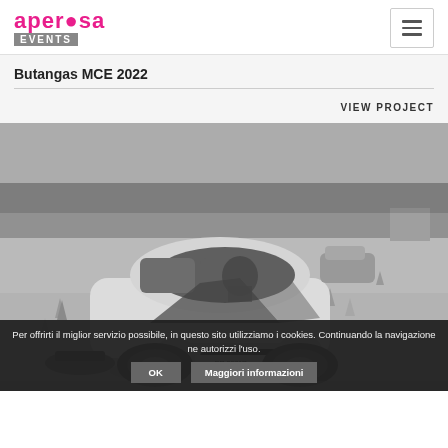aperosa Events
Butangas MCE 2022
VIEW PROJECT
[Figure (photo): Black and white photo of a small white car with graphic stripes navigating a cone course on a large parking area/airfield, trees in background, license plate ER 2871R]
Per offrirti il miglior servizio possibile, in questo sito utilizziamo i cookies. Continuando la navigazione ne autorizzi l'uso. OK Maggiori informazioni